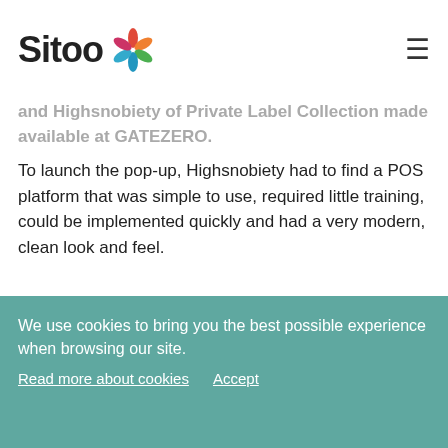Sitoo
and Highsnobiety of Private Label Collection made available at GATEZERO.
To launch the pop-up, Highsnobiety had to find a POS platform that was simple to use, required little training, could be implemented quickly and had a very modern, clean look and feel.
We are focusing on the new generation of luxury consumers. – David Fischer, CEO and founder
We use cookies to bring you the best possible experience when browsing our site.
Read more about cookies   Accept